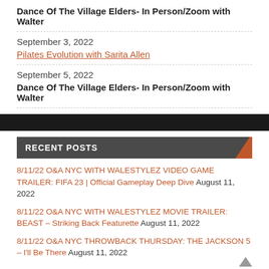Dance Of The Village Elders- In Person/Zoom with Walter
September 3, 2022
Pilates Evolution with Sarita Allen
September 5, 2022
Dance Of The Village Elders- In Person/Zoom with Walter
RECENT POSTS
8/11/22 O&A NYC WITH WALESTYLEZ VIDEO GAME TRAILER: FIFA 23 | Official Gameplay Deep Dive August 11, 2022
8/11/22 O&A NYC WITH WALESTYLEZ MOVIE TRAILER: BEAST – Striking Back Featurette August 11, 2022
8/11/22 O&A NYC THROWBACK THURSDAY: THE JACKSON 5 – I'll Be There August 11, 2022